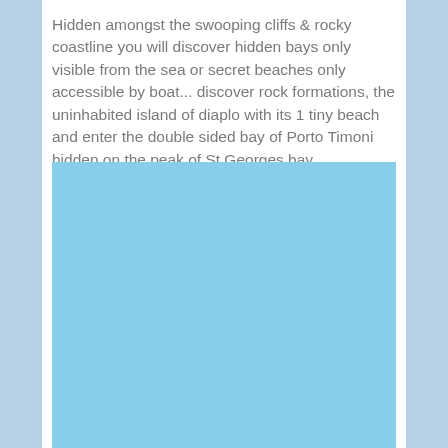Hidden amongst the swooping cliffs & rocky coastline you will discover hidden bays only visible from the sea or secret beaches only accessible by boat... discover rock formations, the uninhabited island of diaplo with its 1 tiny beach and enter the double sided bay of Porto Timoni hidden on the peak of St.Georges bay.
[Figure (photo): A light blue rectangular placeholder image representing a coastal or sea scene]